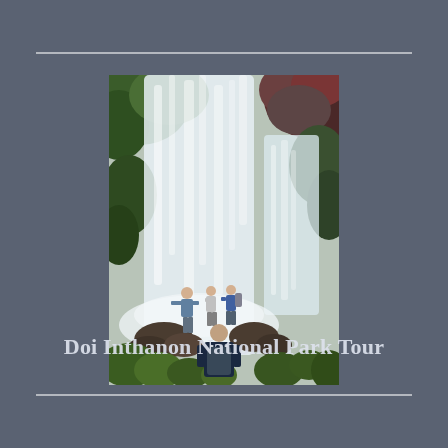[Figure (photo): A large waterfall with lush green vegetation on either side. Four people are standing on rocks in the foreground near the base of the waterfall, with one person in a dark blue jacket and backpack visible from behind in the foreground.]
Doi Inthanon National Park Tour